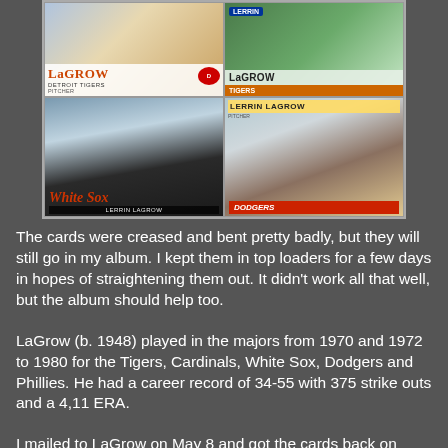[Figure (photo): Collage of four signed Lerrin LaGrow baseball cards showing him in Detroit Tigers, Chicago White Sox, and Los Angeles Dodgers uniforms]
The cards were creased and bent pretty badly, but they will still go in my album.  I kept them in top loaders for a few days in hopes of straightening them out.  It didn't work all that well, but the album should help too.
LaGrow (b. 1948) played in the majors from 1970 and 1972 to 1980 for the Tigers, Cardinals, White Sox, Dodgers and Phillies.  He had a career record of 34-55 with 375 strike outs and a 4,11 ERA.
I mailed to LaGrow on May 8 and got the cards back on June